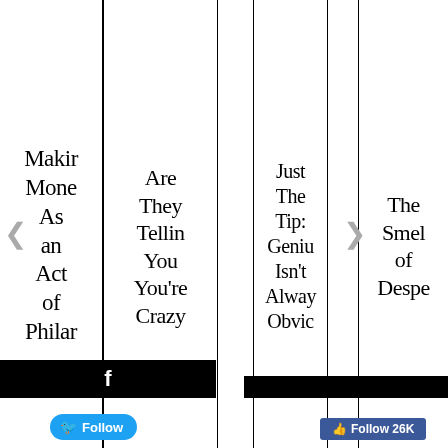Making Money As an Act of Philanthropy
Are They Telling You You're Crazy
Just The Tip: Genius Isn't Always Obvious
The Smell of Desperation
[Figure (screenshot): Facebook social widget bar with follow button]
[Figure (screenshot): Twitter follow button and Facebook follow 26K button]